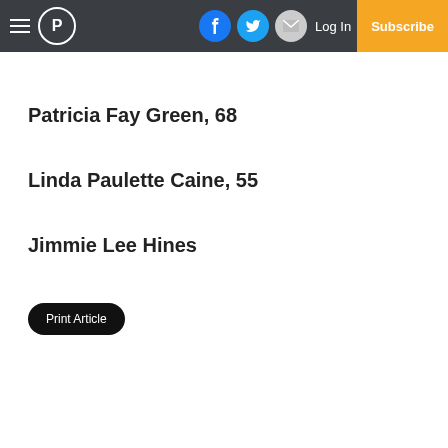≡ P | Facebook | Twitter | Email | Log In | Subscribe
Patricia Fay Green, 68
Linda Paulette Caine, 55
Jimmie Lee Hines
Print Article